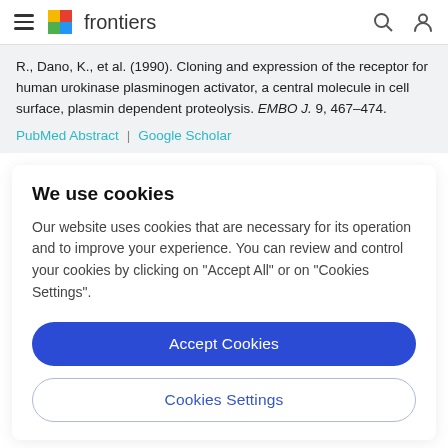frontiers
R., Dano, K., et al. (1990). Cloning and expression of the receptor for human urokinase plasminogen activator, a central molecule in cell surface, plasmin dependent proteolysis. EMBO J. 9, 467–474.
PubMed Abstract | Google Scholar
We use cookies
Our website uses cookies that are necessary for its operation and to improve your experience. You can review and control your cookies by clicking on "Accept All" or on "Cookies Settings".
Accept Cookies
Cookies Settings